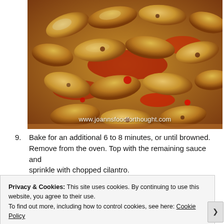[Figure (photo): Close-up photo of baked chicken wings on a foil-lined pan, glazed with a red sauce, golden-brown and caramelized. Watermark text: www.joannsfoodforthought.com]
9. Bake for an additional 6 to 8 minutes, or until browned. Remove from the oven. Top with the remaining sauce and sprinkle with chopped cilantro.
Privacy & Cookies: This site uses cookies. By continuing to use this website, you agree to their use. To find out more, including how to control cookies, see here: Cookie Policy